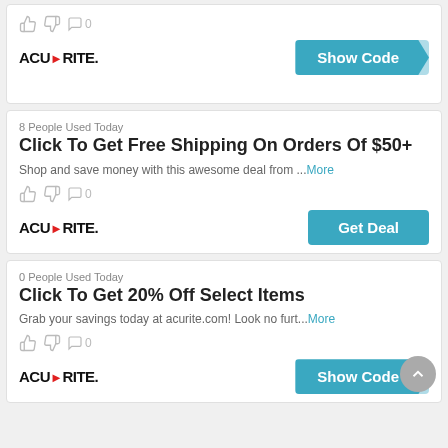[Figure (logo): AcuRite logo]
Show Code
8 People Used Today
Click To Get Free Shipping On Orders Of $50+
Shop and save money with this awesome deal from ...More
[Figure (logo): AcuRite logo]
Get Deal
0 People Used Today
Click To Get 20% Off Select Items
Grab your savings today at acurite.com! Look no furt...More
[Figure (logo): AcuRite logo]
Show Code